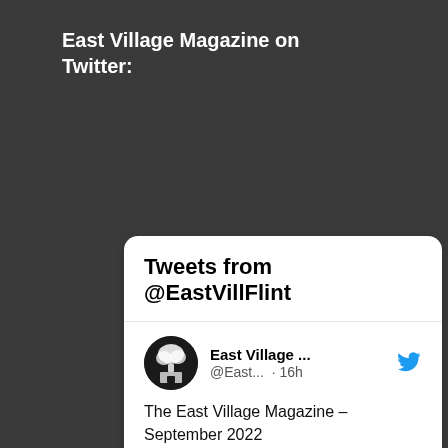East Village Magazine on Twitter:
[Figure (screenshot): Twitter widget card showing 'Tweets from @EastVillFlint' with a tweet by East Village Magazine (@East...) posted 16h ago. Tweet text: 'The East Village Magazine – September 2022 eastvillagemagazine.org/2022/08/31/the...' with a link preview card showing a newspaper icon and 'eastvillage... The East Village ...' A heart/like icon with count 1 and a reply icon are visible at the bottom.]